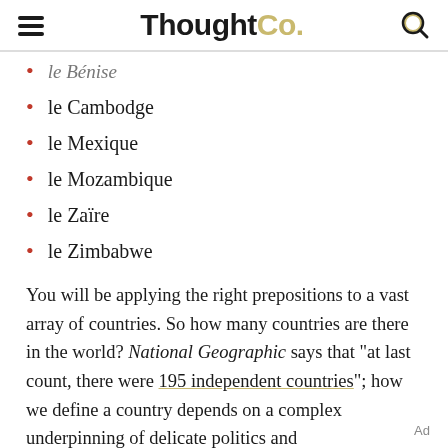ThoughtCo.
le Bénise
le Cambodge
le Mexique
le Mozambique
le Zaïre
le Zimbabwe
You will be applying the right prepositions to a vast array of countries. So how many countries are there in the world? National Geographic says that "at last count, there were 195 independent countries"; how we define a country depends on a complex underpinning of delicate politics and